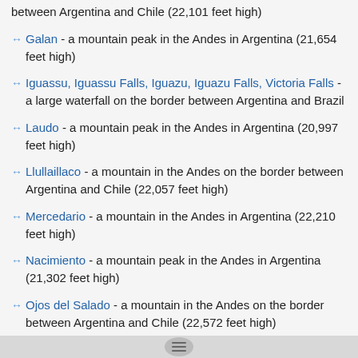Galan - a mountain peak in the Andes in Argentina (21,654 feet high)
Iguassu, Iguassu Falls, Iguazu, Iguazu Falls, Victoria Falls - a large waterfall on the border between Argentina and Brazil
Laudo - a mountain peak in the Andes in Argentina (20,997 feet high)
Llullaillaco - a mountain in the Andes on the border between Argentina and Chile (22,057 feet high)
Mercedario - a mountain in the Andes in Argentina (22,210 feet high)
Nacimiento - a mountain peak in the Andes in Argentina (21,302 feet high)
Ojos del Salado - a mountain in the Andes on the border between Argentina and Chile (22,572 feet high)
Parana, Parana River - a South American river; tributary of Rio de la Plata